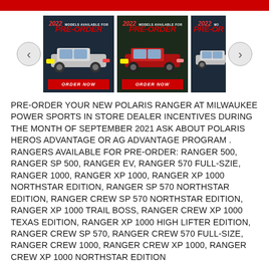[Figure (screenshot): Top red banner strip at top of page]
[Figure (screenshot): Carousel of Polaris Ranger 2022 PRE-ORDER promotional images with nav arrows and three vehicle cards showing PRE-ORDER text and ORDER NOW buttons]
PRE-ORDER YOUR NEW POLARIS RANGER AT MILWAUKEE POWER SPORTS IN STORE DEALER INCENTIVES DURING THE MONTH OF SEPTEMBER 2021 ASK ABOUT POLARIS HEROS ADVANTAGE OR AG ADVANTAGE PROGRAM . RANGERS AVAILABLE FOR PRE-ORDER: RANGER 500, RANGER SP 500, RANGER EV, RANGER 570 FULL-SZIE, RANGER 1000, RANGER XP 1000, RANGER XP 1000 NORTHSTAR EDITION, RANGER SP 570 NORTHSTAR EDITION, RANGER CREW SP 570 NORTHSTAR EDITION, RANGER XP 1000 TRAIL BOSS, RANGER CREW XP 1000 TEXAS EDITION, RANGER XP 1000 HIGH LIFTER EDITION, RANGER CREW SP 570, RANGER CREW 570 FULL-SIZE, RANGER CREW 1000, RANGER CREW XP 1000, RANGER CREW XP 1000 NORTHSTAR EDITION